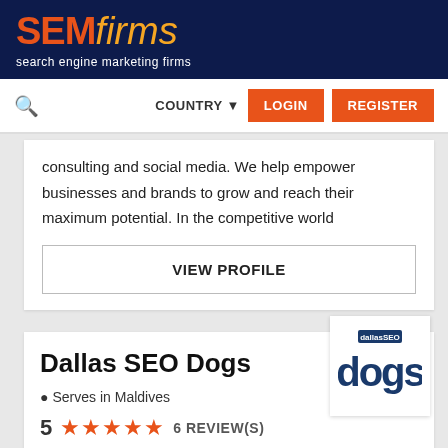SEMfirms - search engine marketing firms
COUNTRY LOGIN REGISTER
consulting and social media. We help empower businesses and brands to grow and reach their maximum potential. In the competitive world
VIEW PROFILE
Dallas SEO Dogs
Serves in Maldives
5 ★★★★★ 6 REVIEW(S)